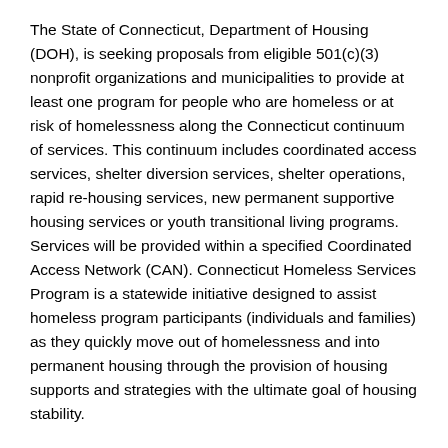The State of Connecticut, Department of Housing (DOH), is seeking proposals from eligible 501(c)(3) nonprofit organizations and municipalities to provide at least one program for people who are homeless or at risk of homelessness along the Connecticut continuum of services. This continuum includes coordinated access services, shelter diversion services, shelter operations, rapid re-housing services, new permanent supportive housing services or youth transitional living programs. Services will be provided within a specified Coordinated Access Network (CAN). Connecticut Homeless Services Program is a statewide initiative designed to assist homeless program participants (individuals and families) as they quickly move out of homelessness and into permanent housing through the provision of housing supports and strategies with the ultimate goal of housing stability.
The RFP is available in electronic format on the State